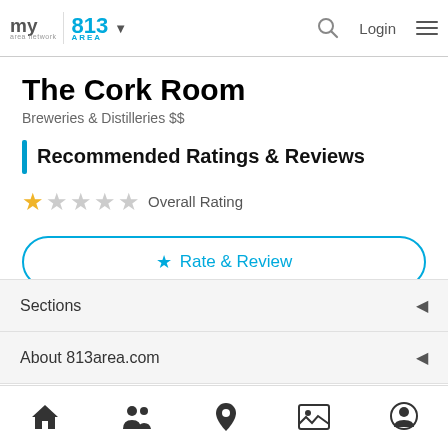my area network | 813 AREA | Login
The Cork Room
Breweries & Distilleries $$
Recommended Ratings & Reviews
★☆☆☆☆ Overall Rating
★ Rate & Review
Sections
About 813area.com
Home | People | Location | Photos | Profile